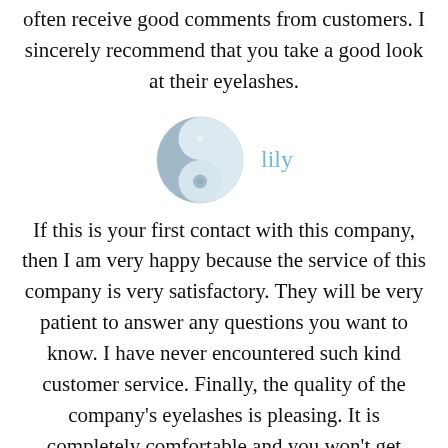often receive good comments from customers. I sincerely recommend that you take a good look at their eyelashes.
[Figure (illustration): Yin-yang style avatar icon in light grey/blue tones next to username 'lily']
If this is your first contact with this company, then I am very happy because the service of this company is very satisfactory. They will be very patient to answer any questions you want to know. I have never encountered such kind customer service. Finally, the quality of the company's eyelashes is pleasing. It is completely comfortable and you won't get eyestrain.
[Figure (illustration): Partial avatar icon at the bottom of the page, cut off]